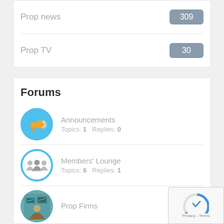Prop news 309
Prop TV 30
Forums
Announcements Topics: 1  Replies: 0
Members' Lounge Topics: 6  Replies: 1
Prop Firms